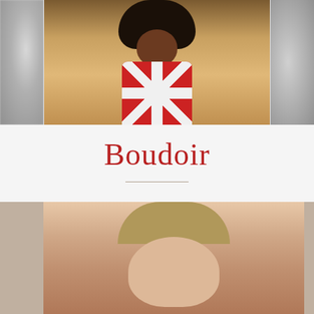[Figure (photo): Three portrait photos side by side: left is a blurred grayscale portrait, center is a woman with a large natural afro wearing a Union Jack top with arms crossed, right is a blurred grayscale portrait]
Boudoir
[Figure (photo): A boudoir-style photograph of a person with blonde hair lying down, partially visible, in a black outfit against a dark background]